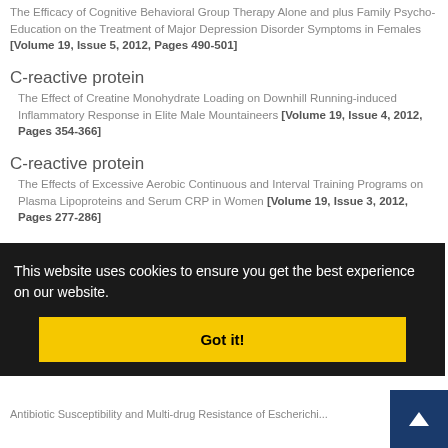The Efficacy of Cognitive Behavioral Group Therapy Alone and plus Family Psycho-Education on the Treatment of Major Depression Disorder Symptoms in Females [Volume 19, Issue 5, 2012, Pages 490-501]
C-reactive protein
The Effect of Creatine Monohydrate Loading on Downhill Running-induced Inflammatory Response in Elite Male Mountaineers [Volume 19, Issue 4, 2012, Pages 354-366]
C-reactive protein
The Effects of Excessive Aerobic Continuous and Interval Training Programs on Plasma Lipoproteins and Serum CRP in Women [Volume 19, Issue 3, 2012, Pages 277-286]
Creatine
The Effect of Creatine Monohydrate Loading on Downhill Running-induced Inflammatory Response in Elite Male Mountaineers [Volume ...
...HP -Health Pages 201-211]
Antibiotic Susceptibility and Multi-drug Resistance of Escherichi...
[Figure (screenshot): Cookie consent banner overlay: dark background with text 'This website uses cookies to ensure you get the best experience on our website.' and a yellow 'Got it!' button. A blue back-to-top arrow button is at the bottom right.]